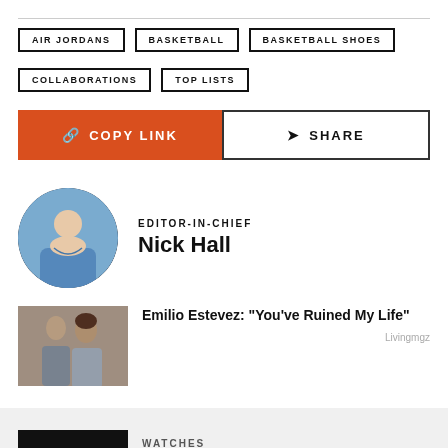AIR JORDANS
BASKETBALL
BASKETBALL SHOES
COLLABORATIONS
TOP LISTS
🔗 COPY LINK
➤ SHARE
EDITOR-IN-CHIEF
Nick Hall
Emilio Estevez: "You've Ruined My Life"
Livingmgz
RELATED STORIES
WATCHES